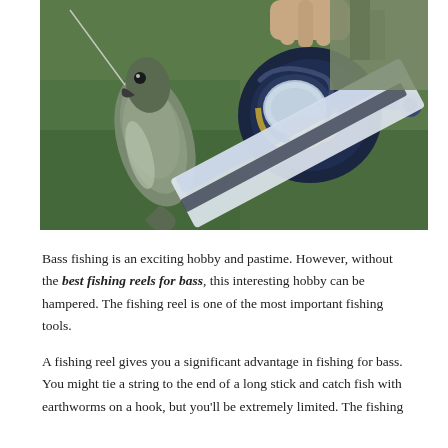[Figure (photo): Close-up photo of a person holding a fish (bass) and a fishing reel (spinning reel) above a boat, with green water background.]
Bass fishing is an exciting hobby and pastime. However, without the best fishing reels for bass, this interesting hobby can be hampered. The fishing reel is one of the most important fishing tools.
A fishing reel gives you a significant advantage in fishing for bass. You might tie a string to the end of a long stick and catch fish with earthworms on a hook, but you'll be extremely limited. The fishing